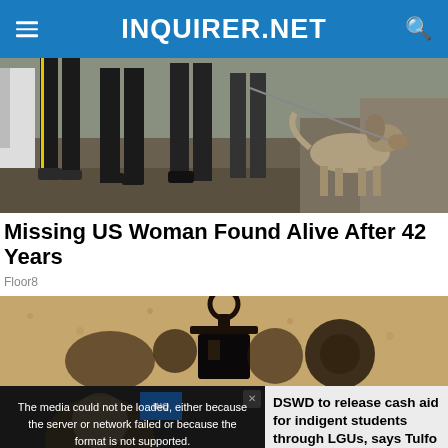INQUIRER.NET
[Figure (photo): Street scene with people's legs visible, police officers with a dog, outdoor setting with gravel and dried grass]
Missing US Woman Found Alive After 42 Years
Floor8
[Figure (photo): Close-up of a dark metal hook or lantern against a textured beige/tan wall]
[Figure (screenshot): Video player showing error message: The media could not be loaded, either because the server or network failed or because the format is not supported. Overlaid video shows DSWD to release cash aid for indigent students through LGUs, says Tulfo. Lower caption reads: DSWD TO RELEASE CASH AID FOR INDIGENT STUDENTS THROUGH LGUS, SAYS TULFO]